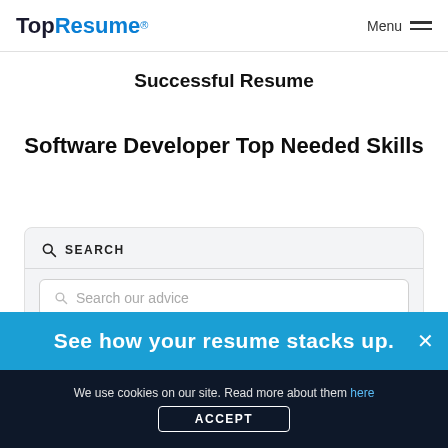TopResume® Menu
Successful Resume
Software Developer Top Needed Skills
SEARCH
Search our advice
See how your resume stacks up.
We use cookies on our site. Read more about them here
ACCEPT